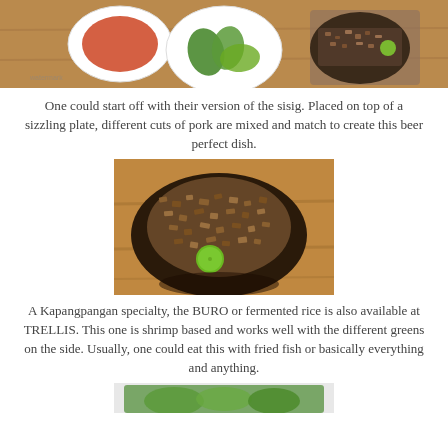[Figure (photo): Top portion of a photo showing dishes on a wooden table: a bowl of red sauce, a plate with green leaves and avocado, and a sizzling plate with minced meat and lime]
One could start off with their version of the sisig. Placed on top of a sizzling plate, different cuts of pork are mixed and match to create this beer perfect dish.
[Figure (photo): A black sizzling plate with chopped/minced pork sisig topped with a calamansi/lime, placed on a wooden table surface]
A Kapangpangan specialty, the BURO or fermented rice is also available at TRELLIS. This one is shrimp based and works well with the different greens on the side. Usually, one could eat this with fried fish or basically everything and anything.
[Figure (photo): Bottom portion of another food photo, partially visible, showing green vegetables or greens]